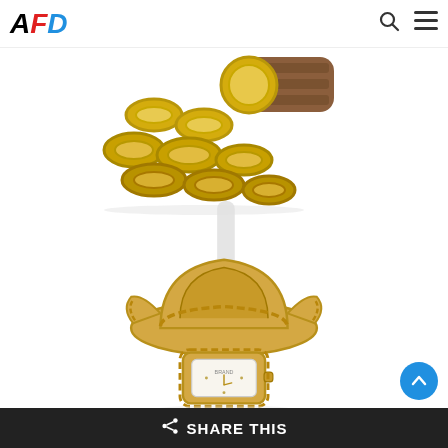AFD logo with search and menu icons
[Figure (photo): Close-up of a gold chain-link watch bracelet with brown leather strap, photographed from above on white background]
[Figure (photo): Gold-tone women's watch with large gold cowboy hat decorative element above a small rectangular white dial face, on a clear/white display stand]
SHARE THIS